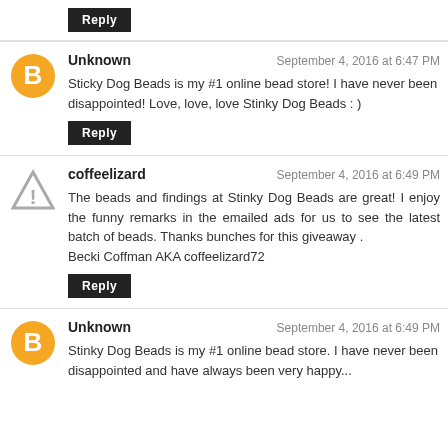Reply
Unknown — September 4, 2016 at 6:47 PM
Sticky Dog Beads is my #1 online bead store! I have never been disappointed! Love, love, love Stinky Dog Beads : )
Reply
coffeelizard — September 4, 2016 at 6:49 PM
The beads and findings at Stinky Dog Beads are great! I enjoy the funny remarks in the emailed ads for us to see the latest batch of beads. Thanks bunches for this giveaway . Becki Coffman AKA coffeelizard72
Reply
Unknown — September 4, 2016 at 6:49 PM
Stinky Dog Beads is my #1 online bead store. I have never been disappointed and have always been very happy...